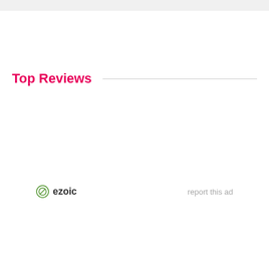Top Reviews
[Figure (logo): Ezoic logo with green circular icon and 'ezoic' text in bold dark letters]
report this ad